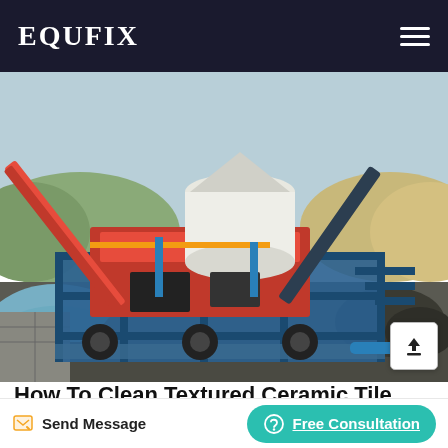EQUFIX
[Figure (photo): Industrial mining or quarry equipment — a large screening/crushing machine with blue steel frame, conveyor belts, and a white cylindrical tank/silo, set in an outdoor quarry site with piled materials and hills in the background.]
How To Clean Textured Ceramic Tile Floors ...
Apr 02, 2020 How to Clean Textured Floor Tiles? Is it ...